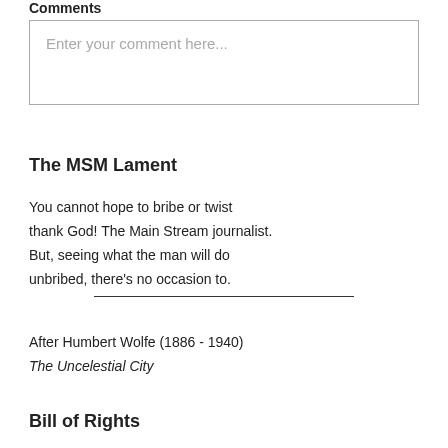Comments
[Figure (other): Comment input text box with placeholder text 'Enter your comment here...']
The MSM Lament
You cannot hope to bribe or twist
thank God! The Main Stream journalist.
But, seeing what the man will do
unbribed, there's no occasion to.
After Humbert Wolfe (1886 - 1940)
The Uncelestial City
Bill of Rights